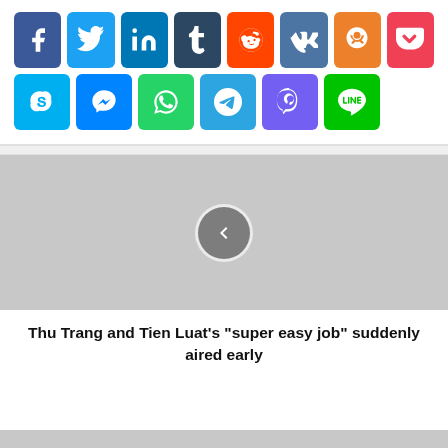[Figure (infographic): Social media sharing buttons grid: Row 1: Facebook (blue), Twitter (light blue), LinkedIn (dark blue), Tumblr (dark navy), Reddit (orange-red), VK (steel blue), Odnoklassniki (orange), Pocket (red-pink). Row 2: Skype (light blue), Messenger (blue), WhatsApp (green), Telegram (blue), Viber (purple), Line (green).]
[Figure (photo): Gray placeholder image with a left-arrow navigation circle button in the center]
Thu Trang and Tien Luat's "super easy job" suddenly aired early